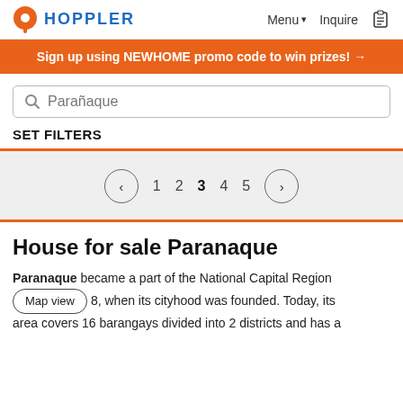HOPPLER — Menu ▾  Inquire
Sign up using NEWHOME promo code to win prizes! →
Parañaque
SET FILTERS
‹  1  2  3  4  5  ›
House for sale Paranaque
Paranaque became a part of the National Capital Region [Map view] 8, when its cityhood was founded. Today, its area covers 16 barangays divided into 2 districts and has a